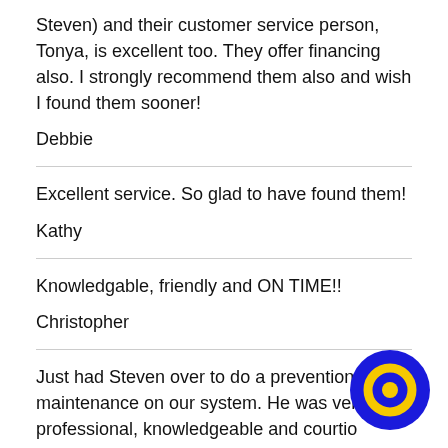Steven) and their customer service person, Tonya, is excellent too. They offer financing also. I strongly recommend them also and wish I found them sooner!
Debbie
Excellent service. So glad to have found them!
Kathy
Knowledgable, friendly and ON TIME!!
Christopher
Just had Steven over to do a prevention maintenance on our system. He was very professional, knowledgeable and courtious answered any questions we had. We will be using Coast in the future